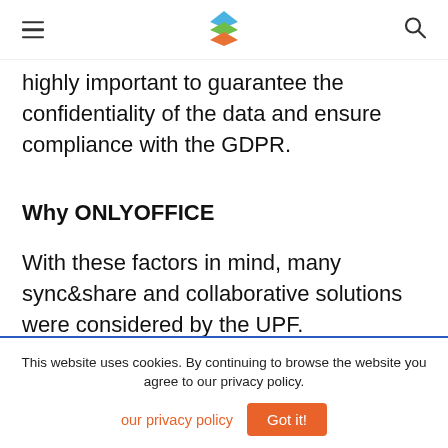ONLYOFFICE logo, hamburger menu, search icon
highly important to guarantee the confidentiality of the data and ensure compliance with the GDPR.
Why ONLYOFFICE
With these factors in mind, many sync&share and collaborative solutions were considered by the UPF.
This website uses cookies. By continuing to browse the website you agree to our privacy policy.
our privacy policy   Got it!